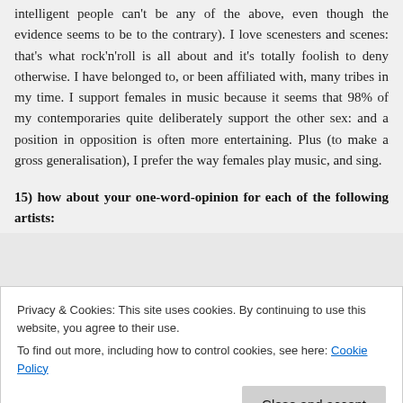intelligent people can't be any of the above, even though the evidence seems to be to the contrary). I love scenesters and scenes: that's what rock'n'roll is all about and it's totally foolish to deny otherwise. I have belonged to, or been affiliated with, many tribes in my time. I support females in music because it seems that 98% of my contemporaries quite deliberately support the other sex: and a position in opposition is often more entertaining. Plus (to make a gross generalisation), I prefer the way females play music, and sing.
15) how about your one-word-opinion for each of the following artists:
Privacy & Cookies: This site uses cookies. By continuing to use this website, you agree to their use.
To find out more, including how to control cookies, see here: Cookie Policy
the church – rock music